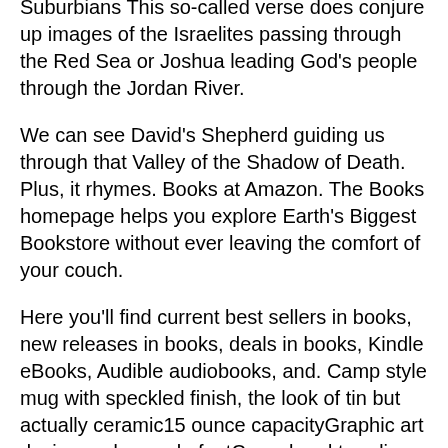Suburbians This so-called verse does conjure up images of the Israelites passing through the Red Sea or Joshua leading God's people through the Jordan River.
We can see David's Shepherd guiding us through that Valley of the Shadow of Death. Plus, it rhymes. Books at Amazon. The Books homepage helps you explore Earth's Biggest Bookstore without ever leaving the comfort of your couch.
Here you'll find current best sellers in books, new releases in books, deals in books, Kindle eBooks, Audible audiobooks, and. Camp style mug with speckled finish, the look of tin but actually ceramic15 ounce capacityGraphic art design and upscale fontCasual and trending giftSafe for mw/dwIf God brings you to it he will bring you through itDesign the same on both If God Brings You To It He Will Bring You Through It Campfire MugBrand: Dexsa-the Giving Company.
After giving the Mosaic Law, God commanded the people to obey it or suffer many evils, including something that sounds like disease: “The Lord will strike you with wasting disease, with fever and